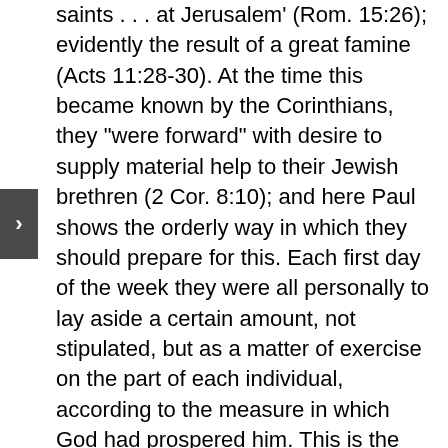saints . . . at Jerusalem' (Rom. 15:26); evidently the result of a great famine (Acts 11:28-30). At the time this became known by the Corinthians, they "were forward" with desire to supply material help to their Jewish brethren (2 Cor. 8:10); and here Paul shows the orderly way in which they should prepare for this. Each first day of the week they were all personally to lay aside a certain amount, not stipulated, but as a matter of exercise on the part of each individual, according to the measure in which God had prospered him. This is the wise and Scriptural order. The first day of the week is of course the day of Christ's resurrection, He Himself the firstfruits; and therefore it was the becoming day for thanksgiving for His perfect sacrifice and its blessed results, the day of suitable response to His own great gift of Himself. It is no legal claim, such as was the required tithe of the Old Testament; but if one under law could give a tenth, should this be difficult for one under grace? Nevertheless, each heart and conscience is left fully free before God, to do that which is the fruit of his own personal faith. The measure is seen in this verse, "as God hath prospered him"; and also in 2 Corinthians 9:7.